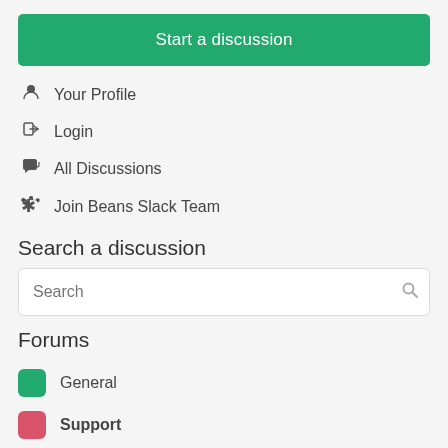Start a discussion
Your Profile
Login
All Discussions
Join Beans Slack Team
Search a discussion
Search
Forums
General
Support
Extend